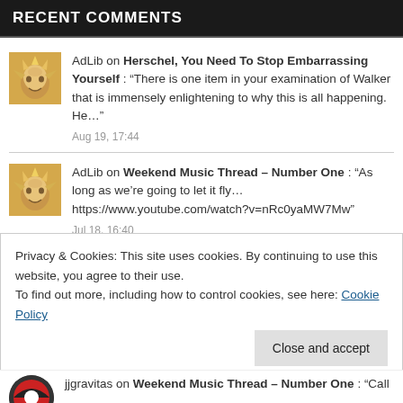RECENT COMMENTS
AdLib on Herschel, You Need To Stop Embarrassing Yourself : “There is one item in your examination of Walker that is immensely enlightening to why this is all happening. He…” Aug 19, 17:44
AdLib on Weekend Music Thread – Number One : “As long as we’re going to let it fly… https://www.youtube.com/watch?v=nRc0yaMW7Mw” Jul 18, 16:40
Privacy & Cookies: This site uses cookies. By continuing to use this website, you agree to their use.
To find out more, including how to control cookies, see here: Cookie Policy
jjgravitas on Weekend Music Thread – Number One : “Call